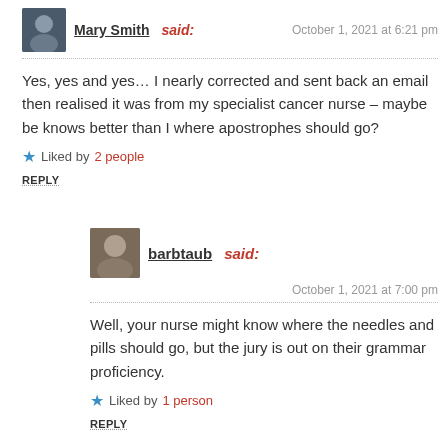Mary Smith said: October 1, 2021 at 6:21 pm
Yes, yes and yes… I nearly corrected and sent back an email then realised it was from my specialist cancer nurse – maybe be knows better than I where apostrophes should go?
Liked by 2 people
REPLY
barbtaub said: October 1, 2021 at 7:00 pm
Well, your nurse might know where the needles and pills should go, but the jury is out on their grammar proficiency.
Liked by 1 person
REPLY